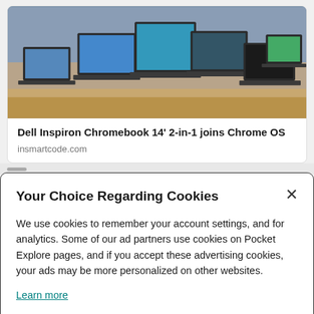[Figure (photo): Photo of multiple Dell laptops/Chromebooks displayed on a table, showing various screen sizes and orientations with colorful wallpapers]
Dell Inspiron Chromebook 14&#039; 2-in-1 joins Chrome OS
insmartcode.com
Your Choice Regarding Cookies
We use cookies to remember your account settings, and for analytics. Some of our ad partners use cookies on Pocket Explore pages, and if you accept these advertising cookies, your ads may be more personalized on other websites.
Learn more
Manage
Accept